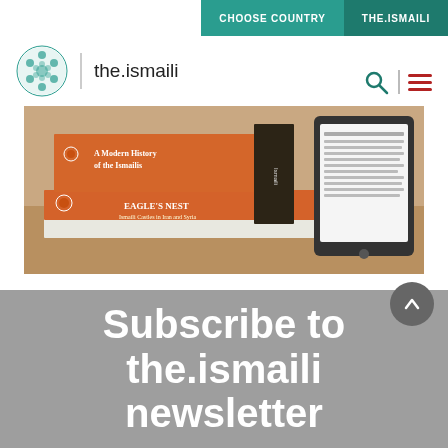CHOOSE COUNTRY | the.ismaili
[Figure (logo): the.ismaili logo with circular teal pattern and site name]
[Figure (photo): Stack of books including 'A Modern History of the Ismailis' and 'Eagle's Nest', alongside a tablet device]
The Institute of Ismaili Studies was established in 1977 with the object of promoting scholarship...
READ MORE
Subscribe to the.ismaili newsletter